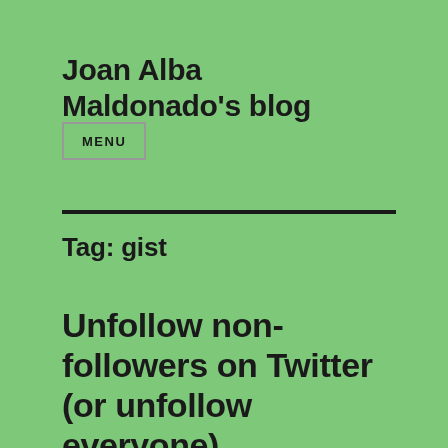Joan Alba Maldonado's blog
MENU
Tag: gist
Unfollow non-followers on Twitter (or unfollow everyone)